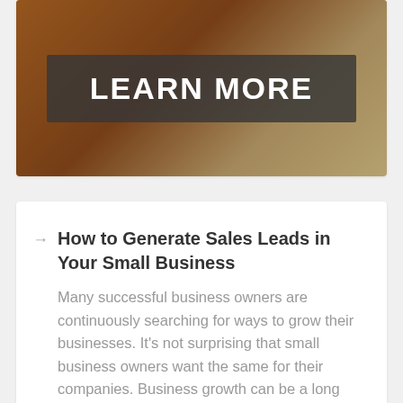[Figure (photo): Banner image with dark overlay showing 'LEARN MORE' text in white bold letters on a dark semi-transparent box, with an orange bar at the top edge, over a warm brown/wood background]
How to Generate Sales Leads in Your Small Business
Many successful business owners are continuously searching for ways to grow their businesses. It's not surprising that small business owners want the same for their companies. Business growth can be a long process, which is why you have to dedicate your time and put in much effort. Many entrepreneurs check for ways to use tools [...]